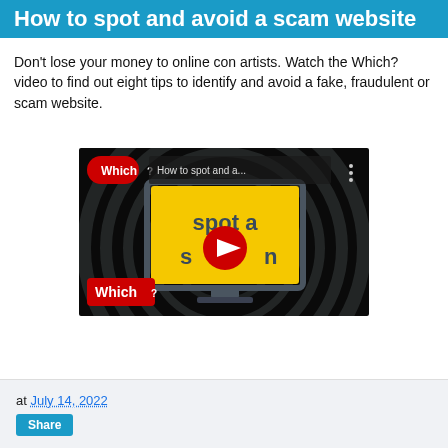How to spot and avoid a scam website
Don't lose your money to online con artists. Watch the Which? video to find out eight tips to identify and avoid a fake, fraudulent or scam website.
[Figure (screenshot): YouTube video thumbnail showing a 'Which?' branded video titled 'How to spot and a...' with a monitor displaying 'spot a scam' text on a yellow background, YouTube play button in center, Which? logo in top-left and bottom-left corners.]
at July 14, 2022